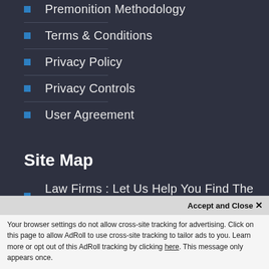Premonition Methodology
Terms & Conditions
Privacy Policy
Privacy Controls
User Agreement
Site Map
Law Firms : Let Us Help You Find The Best
Your browser settings do not allow cross-site tracking for advertising. Click on this page to allow AdRoll to use cross-site tracking to tailor ads to you. Learn more or opt out of this AdRoll tracking by clicking here. This message only appears once.